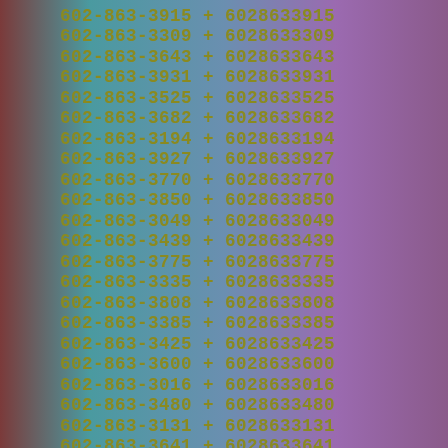602-863-3915 + 6028633915
602-863-3309 + 6028633309
602-863-3643 + 6028633643
602-863-3931 + 6028633931
602-863-3525 + 6028633525
602-863-3682 + 6028633682
602-863-3194 + 6028633194
602-863-3927 + 6028633927
602-863-3770 + 6028633770
602-863-3850 + 6028633850
602-863-3049 + 6028633049
602-863-3439 + 6028633439
602-863-3775 + 6028633775
602-863-3335 + 6028633335
602-863-3808 + 6028633808
602-863-3385 + 6028633385
602-863-3425 + 6028633425
602-863-3600 + 6028633600
602-863-3016 + 6028633016
602-863-3480 + 6028633480
602-863-3131 + 6028633131
602-863-3641 + 6028633641